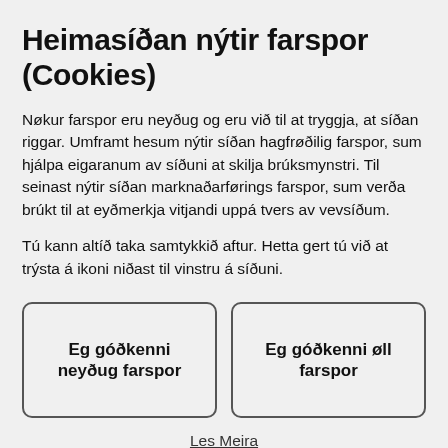Heimasíðan nýtir farspor (Cookies)
Nøkur farspor eru neyðug og eru við til at tryggja, at síðan riggar. Umframt hesum nýtir síðan hagfrøðilig farspor, sum hjálpa eigaranum av síðuni at skilja brúksmynstri. Til seinast nýtir síðan marknaðarførings farspor, sum verða brúkt til at eyðmerkja vitjandi uppá tvers av vevsíðum.
Tú kann altíð taka samtykkið aftur. Hetta gert tú við at trýsta á ikoni niðast til vinstru á síðuni.
Eg góðkenni neyðug farspor
Eg góðkenni øll farspor
Les Meira